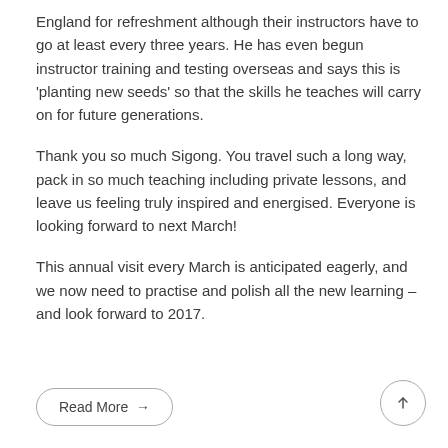England for refreshment although their instructors have to go at least every three years. He has even begun instructor training and testing overseas and says this is 'planting new seeds' so that the skills he teaches will carry on for future generations.
Thank you so much Sigong. You travel such a long way, pack in so much teaching including private lessons, and leave us feeling truly inspired and energised. Everyone is looking forward to next March!
This annual visit every March is anticipated eagerly, and we now need to practise and polish all the new learning – and look forward to 2017.
Read More →
↑